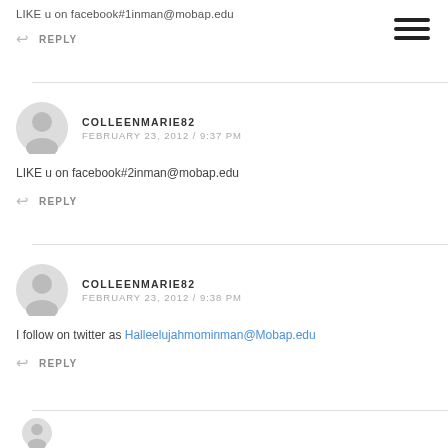LIKE u on facebook#1inman@mobap.edu
REPLY
COLLEENMARIE82
FEBRUARY 23, 2012 / 9:37 PM
LIKE u on facebook#2inman@mobap.edu
REPLY
COLLEENMARIE82
FEBRUARY 23, 2012 / 9:38 PM
I follow on twitter as Halleelujahmominman@Mobap.edu
REPLY